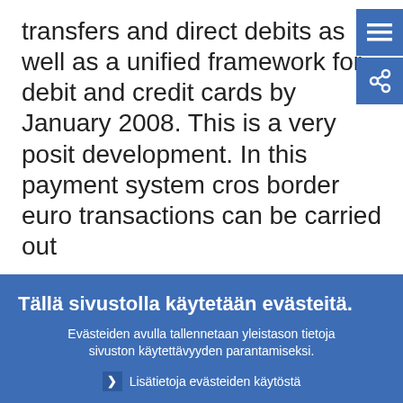transfers and direct debits as well as a unified framework for debit and credit cards by January 2008. This is a very posit development. In this payment system cross border euro transactions can be carried out
Tällä sivustolla käytetään evästeitä.
Evästeiden avulla tallennetaan yleistason tietoja sivuston käytettävyyden parantamiseksi.
Lisätietoja evästeiden käytöstä
Ymmärrän ja sallin evästeiden käytön
En salli evästeiden käyttöä